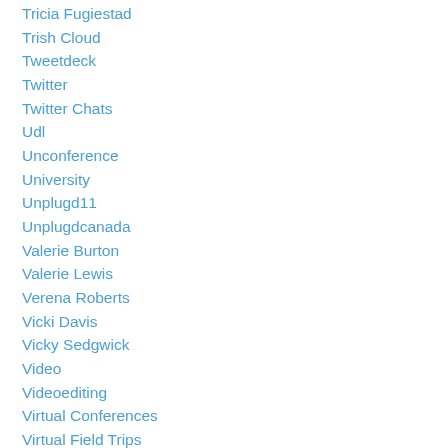Tricia Fugiestad
Trish Cloud
Tweetdeck
Twitter
Twitter Chats
Udl
Unconference
University
Unplugd11
Unplugdcanada
Valerie Burton
Valerie Lewis
Verena Roberts
Vicki Davis
Vicky Sedgwick
Video
Videoediting
Virtual Conferences
Virtual Field Trips
Virtual Reality
Virtualtechnologyconference